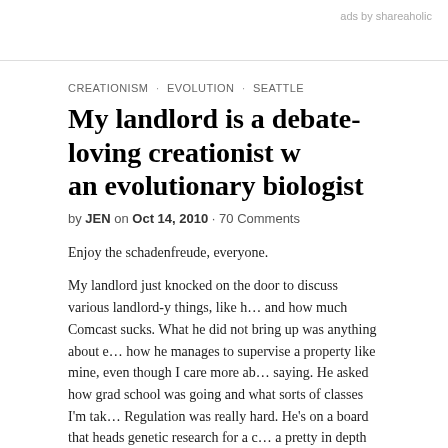ads by shareaholic
CREATIONISM · EVOLUTION · SEATTLE
My landlord is a debate-loving creationist w… an evolutionary biologist
by JEN on Oct 14, 2010 · 70 Comments
Enjoy the schadenfreude, everyone.
My landlord just knocked on the door to discuss various landlord-y things, like h… and how much Comcast sucks. What he did not bring up was anything about e… how he manages to supervise a property like mine, even though I care more ab… saying. He asked how grad school was going and what sorts of classes I'm tak… Regulation was really hard. He's on a board that heads genetic research for a c… a pretty in depth discussion about genetics. It was nice until…
Landlord: Well, I'm a creationist. Though most of my colleagues are evolutioni… Me: …Well, I also have a degree in evolution. Genetics and evolution. Landlord: *glint in eye* Me: What have I done?!
He then spent the next fifteen minutes trying to convince me that junk DNA som…